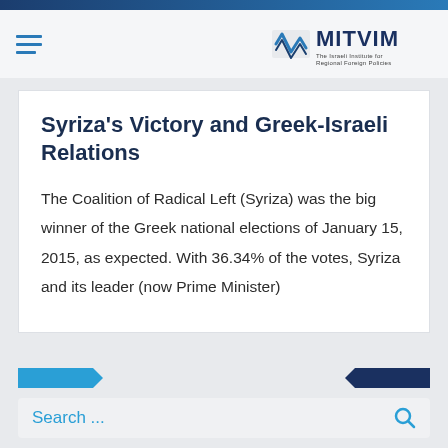MITVIM – The Israeli Institute for Regional Foreign Policies
Syriza's Victory and Greek-Israeli Relations
The Coalition of Radical Left (Syriza) was the big winner of the Greek national elections of January 15, 2015, as expected. With 36.34% of the votes, Syriza and its leader (now Prime Minister)